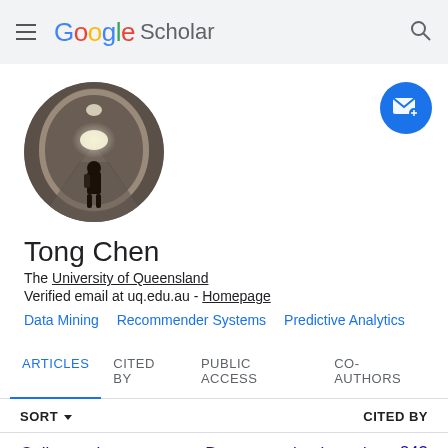Google Scholar
[Figure (photo): Circular profile photo of a person standing in a tunnel with light at the end, silhouetted figure.]
Tong Chen
The University of Queensland
Verified email at uq.edu.au - Homepage
Data Mining
Recommender Systems
Predictive Analytics
ARTICLES	CITED BY	PUBLIC ACCESS	CO-AUTHORS
SORT ▼	CITED BY
Call attention to rumors: Deep attention based	243